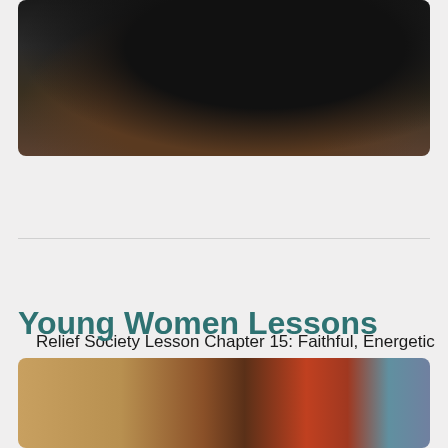[Figure (photo): Partial photo of a person reading or holding a dark-colored book, seen from above with dark tones and warm brown wooden furniture visible]
Relief Society Lesson Chapter 15: Faithful, Energetic Service in the Kingdom of God
View All Relief Society Lessons
Young Women Lessons
[Figure (photo): Classical painting depicting figures in robes, with warm orange, yellow, blue and brown tones, showing people in conversation or interaction]